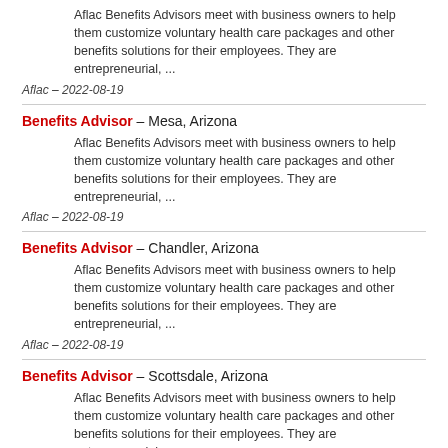Aflac Benefits Advisors meet with business owners to help them customize voluntary health care packages and other benefits solutions for their employees. They are entrepreneurial, ...
Aflac – 2022-08-19
Benefits Advisor – Mesa, Arizona
Aflac Benefits Advisors meet with business owners to help them customize voluntary health care packages and other benefits solutions for their employees. They are entrepreneurial, ...
Aflac – 2022-08-19
Benefits Advisor – Chandler, Arizona
Aflac Benefits Advisors meet with business owners to help them customize voluntary health care packages and other benefits solutions for their employees. They are entrepreneurial, ...
Aflac – 2022-08-19
Benefits Advisor – Scottsdale, Arizona
Aflac Benefits Advisors meet with business owners to help them customize voluntary health care packages and other benefits solutions for their employees. They are entrepreneurial, ...
Aflac – 2022-08-19